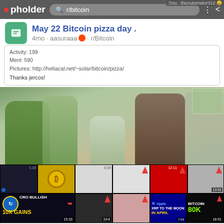pholder — r/bitcoin search results
May 22 Bitcoin pizza day .
4mo · aasuraaa · r/Bitcoin
Activity: 199
Ment: 590
Pictures: http://heliacal.net/~solar/bitcoin/pizza/
Thanks jercos!
[Figure (photo): Collage: top row shows children and a man around a table; bottom rows show cryptocurrency YouTube thumbnail screenshots including CRO BULLISH 10X GAINS, XRP TO THE MOON IN APRIL, BITCOIN 80K, and others. Some thumbnails show red upward arrows and excited faces.]
If you really want to know anything about Bitcoin first le
7mo · Lucky-Ad-709 · r/Bitcoin
Almost everyone now is
For the intellectuals out